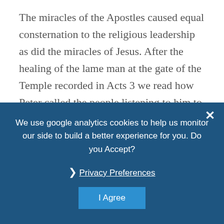The miracles of the Apostles caused equal consternation to the religious leadership as did the miracles of Jesus. After the healing of the lame man at the gate of the Temple recorded in Acts 3 we read how Peter called the people listening to him to repentance and faith.  They included those who had called for Jesus' death;
We use google analytics cookies to help us monitor our side to build a better experience for you. Do you Accept?
❯ Privacy Preferences
I Agree